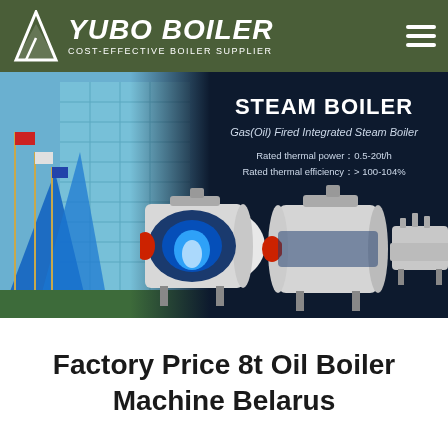YUBO BOILER - COST-EFFECTIVE BOILER SUPPLIER
[Figure (photo): Banner image showing STEAM BOILER product page with industrial building on left side with flags, and three Gas(Oil) Fired Integrated Steam Boilers displayed on dark blue background. Text reads: STEAM BOILER, Gas(Oil) Fired Integrated Steam Boiler, Rated thermal power: 0.5-20t/h, Rated thermal efficiency: > 100-104%]
Factory Price 8t Oil Boiler Machine Belarus